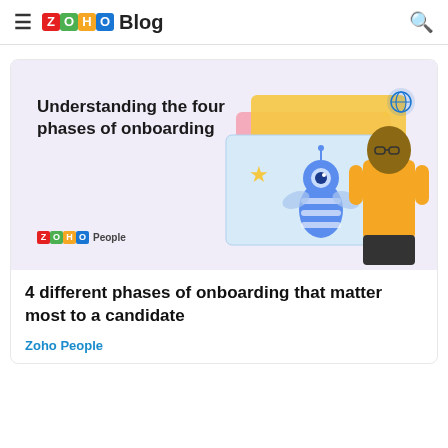≡ ZOHO Blog 🔍
[Figure (illustration): Zoho People blog card banner with lavender background showing text 'Understanding the four phases of onboarding' with decorative stacked cards/windows illustration and a man in yellow shirt with a robot character]
4 different phases of onboarding that matter most to a candidate
Zoho People